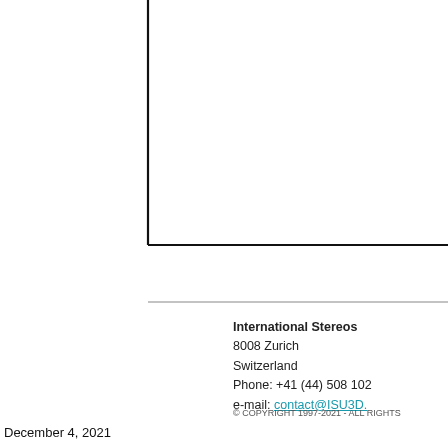[Figure (other): Partial view of a bordered box/frame, showing the bottom-left corner with a thick black border on the left and bottom sides.]
International Stereos
8008 Zurich
Switzerland
Phone: +41 (44) 508 102
e-mail: contact@ISU3D.
© COPYRIGHT 1997-2021 - ALL RIGHTS
December 4, 2021